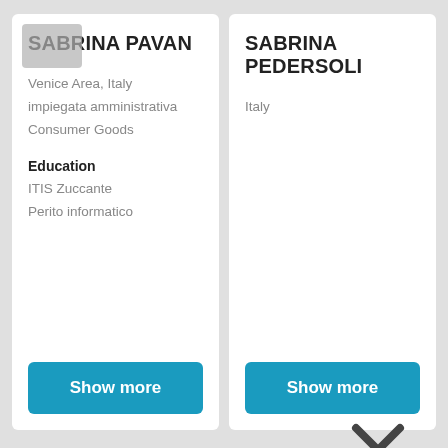SABRINA PAVAN
Venice Area, Italy
impiegata amministrativa
Consumer Goods
Education
ITIS Zuccante
Perito informatico
Show more
SABRINA PEDERSOLI
Italy
Show more